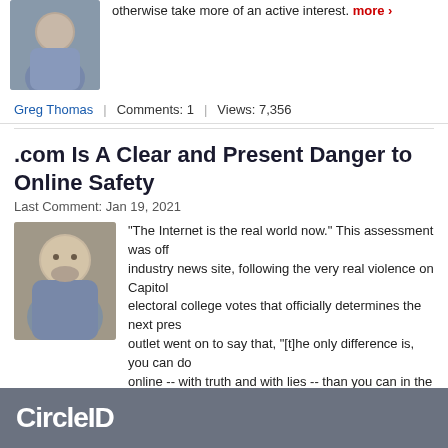otherwise take more of an active interest. more ›
Greg Thomas | Comments: 1 | Views: 7,356
.com Is A Clear and Present Danger to Online Safety
Last Comment: Jan 19, 2021
[Figure (photo): Headshot of Greg Thomas, smiling man with beard]
"The Internet is the real world now." This assessment was off... industry news site, following the very real violence on Capitol ... electoral college votes that officially determines the next pres... outlet went on to say that, "[t]he only difference is, you can do... online -- with truth and with lies -- than you can in the real worl...
Greg Thomas | Comments: 4 | Views: 7,542
1 2 3 > Last ›
CircleID